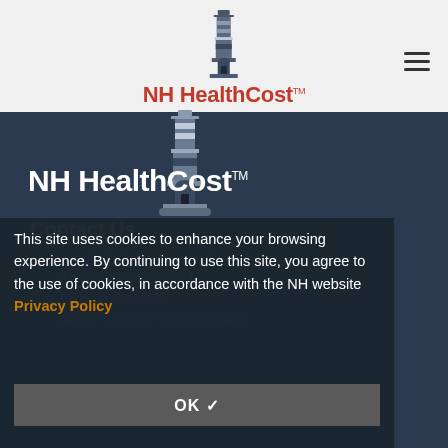[Figure (logo): NH HealthCost lighthouse logo with red text in gray header bar]
[Figure (logo): NH HealthCost lighthouse logo in white on dark blue background]
Contact Us
New Hampshire Insurance Department
21 South Fruit St, Suite 14
Concord, NH 03301
(603) 271-2261 or 1-800-852-3416
This site uses cookies to enhance your browsing experience. By continuing to use this site, you agree to the use of cookies, in accordance with the NH website Privacy Policy
OK ✓